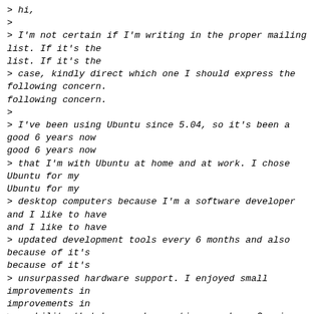> hi,
>
> I'm not certain if I'm writing in the proper mailing list. If it's the
> case, kindly direct which one I should express the following concern.
>
> I've been using Ubuntu since 5.04, so it's been a good 6 years now
> that I'm with Ubuntu at home and at work. I chose Ubuntu for my
> desktop computers because I'm a software developer and I like to have
> updated development tools every 6 months and also because of it's
> unsurpassed hardware support. I enjoyed small improvements in
> usability that happened over time, such as Compiz (which allowed me to
> zoom with the mouse wheel) and the excellent NetworkManager applet. As
> you can imagine, I like to keep my interface minimal and text-based (I
> don't recognize programs by their icons), so GNOME Panel was perfect
> for me because I could remove everything and only keep what I need.
>
> Yesterday, I upgraded to 11.04 and discovered Unity. At first, I was
> at a loss, but I sorted out pretty quickly how it